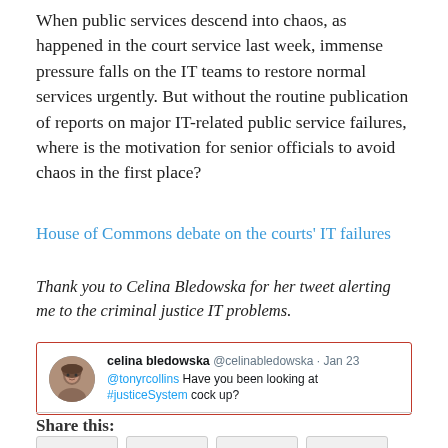When public services descend into chaos, as happened in the court service last week, immense pressure falls on the IT teams to restore normal services urgently. But without the routine publication of reports on major IT-related public service failures, where is the motivation for senior officials to avoid chaos in the first place?
House of Commons debate on the courts' IT failures
Thank you to Celina Bledowska for her tweet alerting me to the criminal justice IT problems.
[Figure (screenshot): Embedded tweet from celina bledowska (@celinabledowska) dated Jan 23 saying: @tonyrcollins Have you been looking at #justiceSystem cock up?]
Share this: